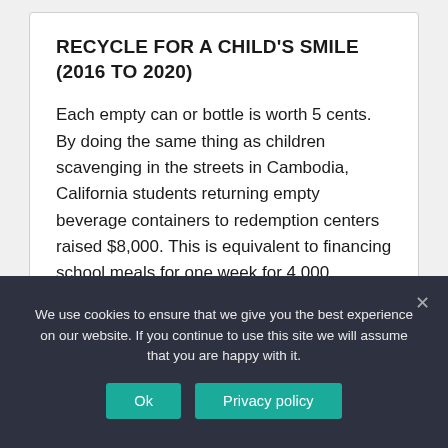RECYCLE FOR A CHILD'S SMILE (2016 TO 2020)
Each empty can or bottle is worth 5 cents. By doing the same thing as children scavenging in the streets in Cambodia, California students returning empty beverage containers to redemption centers raised $8,000. This is equivalent to financing school meals for one week for 4,000 students!
We use cookies to ensure that we give you the best experience on our website. If you continue to use this site we will assume that you are happy with it.